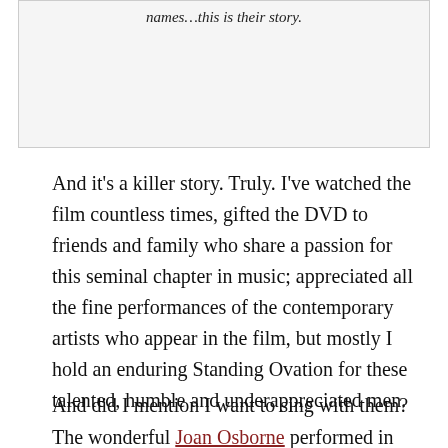names...this is their story.
And it’s a killer story. Truly. I’ve watched the film countless times, gifted the DVD to friends and family who share a passion for this seminal chapter in music; appreciated all the fine performances of the contemporary artists who appear in the film, but mostly I hold an enduring Standing Ovation for these talented, humble and underappreciated men.
And did I mention I want to sing with them?
The wonderful Joan Osborne performed in the